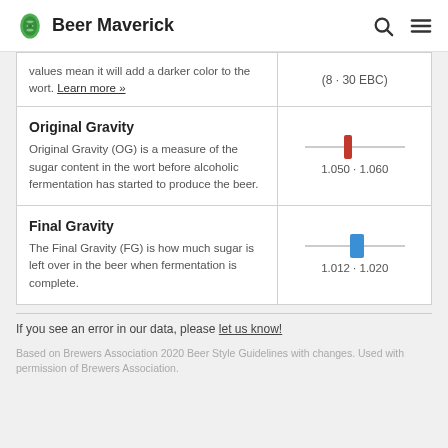Beer Maverick
values mean it will add a darker color to the wort. Learn more »
(8 - 30 EBC)
Original Gravity
Original Gravity (OG) is a measure of the sugar content in the wort before alcoholic fermentation has started to produce the beer.
[Figure (other): Range slider visual for Original Gravity showing a red marker on a gray track]
1.050 - 1.060
Final Gravity
The Final Gravity (FG) is how much sugar is left over in the beer when fermentation is complete.
[Figure (other): Range slider visual for Final Gravity showing a blue marker on a gray track]
1.012 - 1.020
If you see an error in our data, please let us know!
Based on Brewers Association 2020 Beer Style Guidelines with changes. Used with permission of Brewers Association.